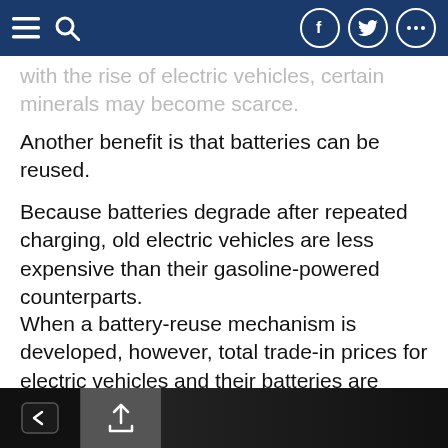Navigation bar with menu, search, Facebook, Twitter, and more icons
with the rise of electric vehicles, certain minerals may become scarce.
Another benefit is that batteries can be reused.
Because batteries degrade after repeated charging, old electric vehicles are less expensive than their gasoline-powered counterparts.
When a battery-reuse mechanism is developed, however, total trade-in prices for electric vehicles and their batteries are projected to climb.
Editor's Picks
[Figure (photo): Bottom navigation bar with back and share icons, partial view of a dark car image]